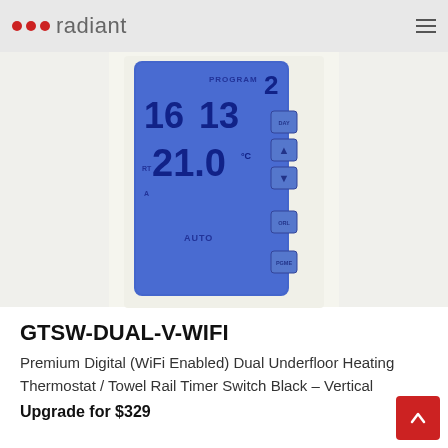radiant
[Figure (photo): A digital thermostat with blue LCD display showing PROGRAM 2, time 16:13, temperature 21.0°C, AUTO mode, with control buttons on the right side (DAY, up arrow, down arrow, ORL, PGME). The device is shown on a cream/white background.]
GTSW-DUAL-V-WIFI
Premium Digital (WiFi Enabled) Dual Underfloor Heating Thermostat / Towel Rail Timer Switch Black – Vertical
Upgrade for $329